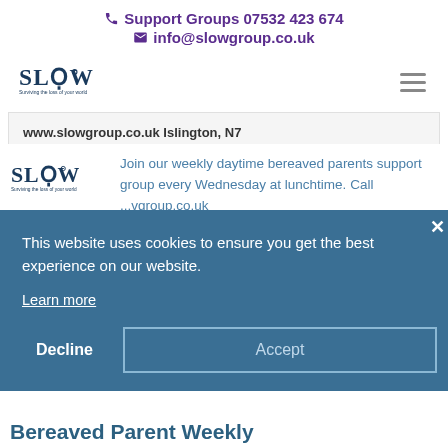Support Groups 07532 423 674
info@slowgroup.co.uk
[Figure (logo): SLOW logo - Surviving the loss of your world]
www.slowgroup.co.uk Islington, N7
[Figure (logo): SLOW logo smaller version]
Join our weekly daytime bereaved parents support group every Wednesday at lunchtime. Call ...vgroup.co.uk
Find out more »
This website uses cookies to ensure you get the best experience on our website.
Learn more
Decline
Accept
Bereaved Parent Weekly